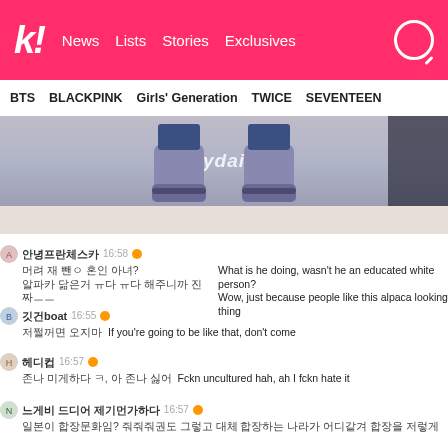k! News Lists Stories Exclusives
BTS  BLACKPINK  Girls' Generation  TWICE  SEVENTEEN
[Figure (photo): Photo showing lower legs and feet wearing blue suede chelsea boots on a tiled floor, with a 'mydaily' watermark]
안녕프란체스카 16:58 What is he doing, wasn't he an educated white person? 머려 재 뺀ㅇ 혼인 아녀? Wow, just because people like this alpaca looking thing 알파카 닮은거 ㅠ다 ㅠ다 해주니까 진짜ㅡㅡ
깃건boat 16:55 저쩔꺼면 오지마 If you're going to be like that, don't come
헤디컵 16:57 존나 미게하다 ㅋ, 아 존나 싫어 Fckn uncultured hah, ah I fckn hate it
느게비 드디어 제기먼가하다 16:57 일본이 합장문화임? 줘줘줘권도 그렇고 대체 합장하는 나라가 어디같겨 합장을 저렇게